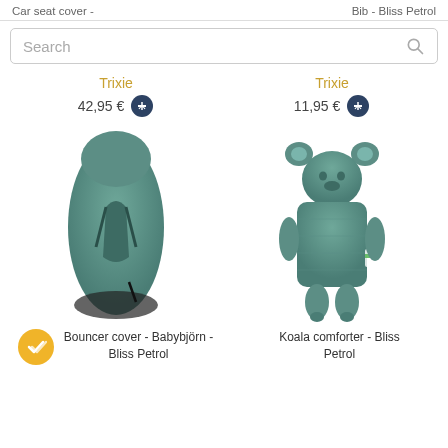Car seat cover -    Bib - Bliss Petrol
Search
Trixie
42,95 €
[Figure (photo): Bouncer cover in teal/petrol color for Babybjörn]
Trixie
11,95 €
[Figure (photo): Koala comforter plush toy in teal/petrol color]
Bouncer cover - Babybjörn - Bliss Petrol
Koala comforter - Bliss Petrol